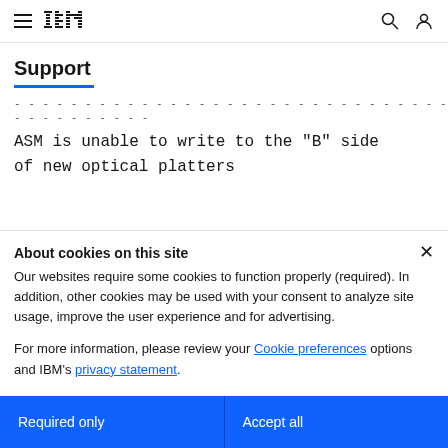IBM Support
Support
----------------------------------------------------------------------
----------
ASM is unable to write to the "B" side of new optical platters
About cookies on this site
Our websites require some cookies to function properly (required). In addition, other cookies may be used with your consent to analyze site usage, improve the user experience and for advertising.
For more information, please review your Cookie preferences options and IBM's privacy statement.
Required only
Accept all